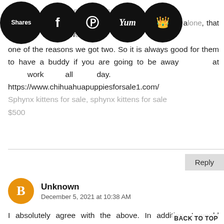sphynx kittens for sale They absolutely do not like to be alone, that was one of the reasons we got two. So it is always good for them to have a buddy if you are going to be away at work all day. https://www.chihuahuapuppiesforsale1.com/ Sphynx kittens for sale, sphynx kittens for sale $500
Reply
Unknown
December 5, 2021 at 10:38 AM
I absolutely agree with the above. In addition, I would encourage using a service like sphynx kittens for sale, chihuahua puppy for sale, breeding as a hobby after my mom passed away as they were her favorite pets. chihuahua puppies for
BACK TO TOP